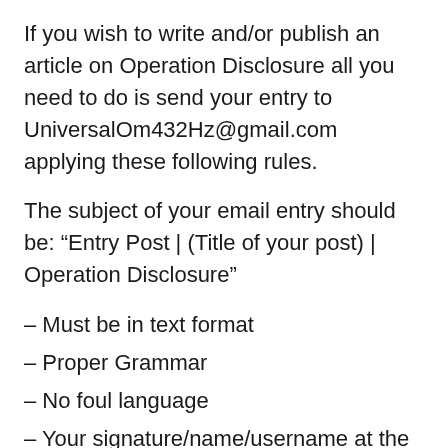If you wish to write and/or publish an article on Operation Disclosure all you need to do is send your entry to UniversalOm432Hz@gmail.com applying these following rules.
The subject of your email entry should be: “Entry Post | (Title of your post) | Operation Disclosure”
– Must be in text format
– Proper Grammar
– No foul language
– Your signature/name/username at the top